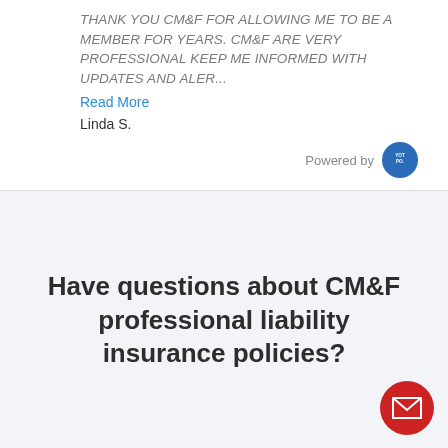THANK YOU CM&F FOR ALLOWING ME TO BE A MEMBER FOR YEARS. CM&F ARE VERY PROFESSIONAL KEEP ME INFORMED WITH UPDATES AND ALER...
Read More
Linda S.
Powered by
Have questions about CM&F professional liability insurance policies?